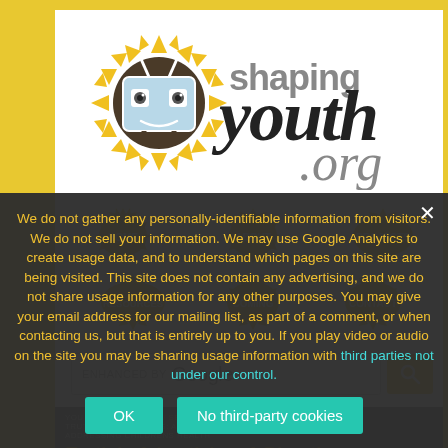[Figure (logo): ShapingYouth.org logo with sunflower mascot and stylized text]
[Figure (screenshot): Website navigation with sunflower-shaped buttons: HOME, ABOUT, PROJECTS, RESOURCES, COMING, CONTACT]
ENHANCED BY Google
YOU ARE HERE: HOME / SEXUALIZATION & BODY IMAGE / TRUTH IN ADVERTISING: A BIPARTISAN BODY IMAGE BILL ADDRESSING CHILDRENS HEALTH
Truth in Advertising: A Bipartisan Body Image Bill Addressing Childrens Health
March
We do not gather any personally-identifiable information from visitors. We do not sell your information. We may use Google Analytics to create usage data, and to understand which pages on this site are being visited. This site does not contain any advertising, and we do not share usage information for any other purposes. You may give your email address for our mailing list, as part of a comment, or when contacting us, but that is entirely up to you. If you play video or audio on the site you may be sharing usage information with third parties not under our control.
OK
No third-party cookies